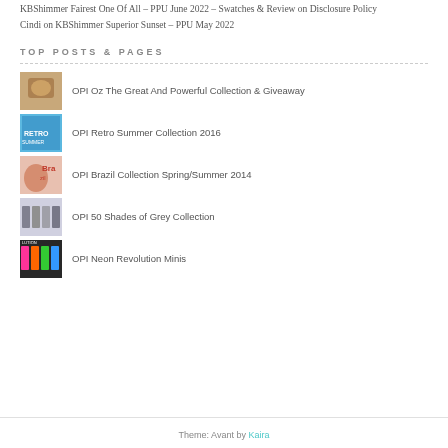KBShimmer Fairest One Of All – PPU June 2022 – Swatches & Review on Disclosure Policy
Cindi on KBShimmer Superior Sunset – PPU May 2022
TOP POSTS & PAGES
OPI Oz The Great And Powerful Collection & Giveaway
OPI Retro Summer Collection 2016
OPI Brazil Collection Spring/Summer 2014
OPI 50 Shades of Grey Collection
OPI Neon Revolution Minis
Theme: Avant by Kaira